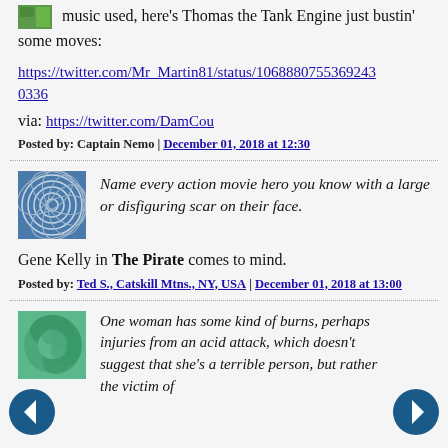music used, here's Thomas the Tank Engine just bustin' some moves:
https://twitter.com/Mr_Martin81/status/1068807553692430336
via: https://twitter.com/DamCou
Posted by: Captain Nemo | December 01, 2018 at 12:30
Name every action movie hero you know with a large or disfiguring scar on their face.
Gene Kelly in The Pirate comes to mind.
Posted by: Ted S., Catskill Mtns., NY, USA | December 01, 2018 at 13:00
One woman has some kind of burns, perhaps injuries from an acid attack, which doesn't suggest that she's a terrible person, but rather the victim of